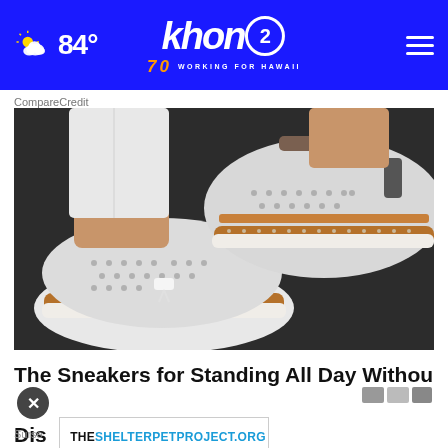khon2 WORKING FOR HAWAII | 84°
CompareCredit
[Figure (photo): Close-up photo of a person wearing white sneakers with perforated design, tan/cork sole with cream stitching detail, against a dark pavement background. Person is wearing white rolled-up jeans.]
The Sneakers for Standing All Day Without Discomfort
Surse
THESHELTERPETPROJECT.ORG